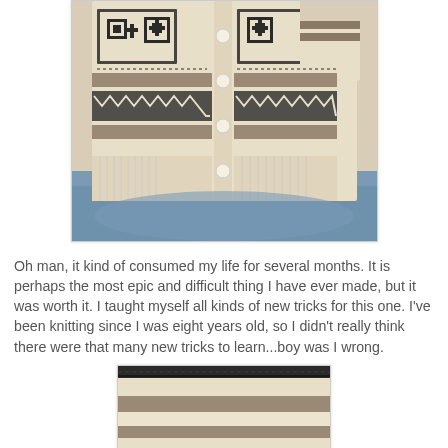[Figure (photo): Close-up photo of a handknitted cardigan with Nordic/Fair Isle pattern in cream and dark brown/black, featuring decorative motifs including geometric patterns and stripes. The sweater has buttons down the front and a folded cuff visible on the right side.]
Oh man, it kind of consumed my life for several months. It is perhaps the most epic and difficult thing I have ever made, but it was worth it. I taught myself all kinds of new tricks for this one. I've been knitting since I was eight years old, so I didn't really think there were that many new tricks to learn...boy was I wrong.
[Figure (photo): Close-up photo of the knitted fabric showing the texture and pattern detail of the cardigan — horizontal stripes in cream/beige and grey/brown, with a decorative band featuring geometric motifs at the bottom.]